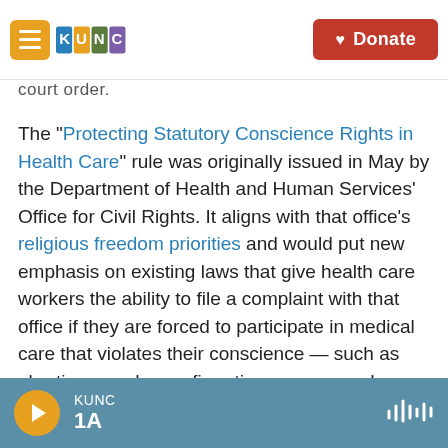KUNC | Donate
court order.
The "Protecting Statutory Conscience Rights in Health Care" rule was originally issued in May by the Department of Health and Human Services' Office for Civil Rights. It aligns with that office's religious freedom priorities and would put new emphasis on existing laws that give health care workers the ability to file a complaint with that office if they are forced to participate in medical care that violates their conscience — such as abortion, gender confirmation surgery, and assisted suicide.
KUNC 1A